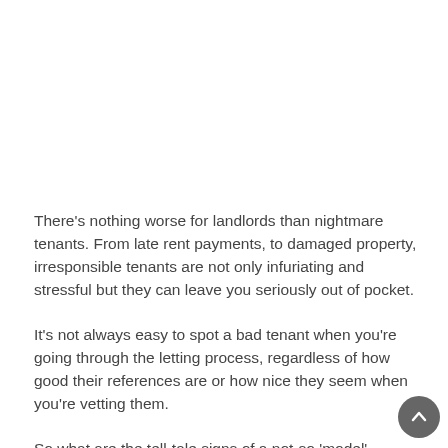There's nothing worse for landlords than nightmare tenants. From late rent payments, to damaged property, irresponsible tenants are not only infuriating and stressful but they can leave you seriously out of pocket.
It's not always easy to spot a bad tenant when you're going through the letting process, regardless of how good their references are or how nice they seem when you're vetting them.
So what are the tell-tale signs of a not-so 'model' tenant? And if you do end up with a problem tenant then what can you do